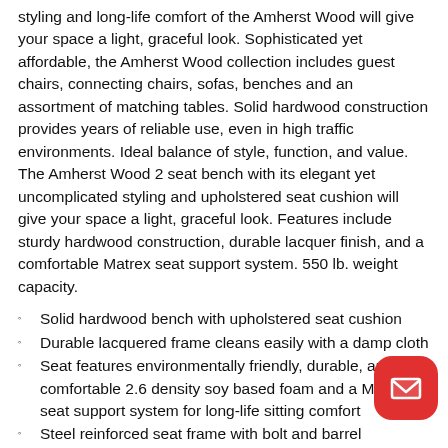styling and long-life comfort of the Amherst Wood will give your space a light, graceful look. Sophisticated yet affordable, the Amherst Wood collection includes guest chairs, connecting chairs, sofas, benches and an assortment of matching tables. Solid hardwood construction provides years of reliable use, even in high traffic environments. Ideal balance of style, function, and value. The Amherst Wood 2 seat bench with its elegant yet uncomplicated styling and upholstered seat cushion will give your space a light, graceful look. Features include sturdy hardwood construction, durable lacquer finish, and a comfortable Matrex seat support system. 550 lb. weight capacity.
Solid hardwood bench with upholstered seat cushion
Durable lacquered frame cleans easily with a damp cloth
Seat features environmentally friendly, durable, and comfortable 2.6 density soy based foam and a Matrex seat support system for long-life sitting comfort
Steel reinforced seat frame with bolt and barrel hardware for exceptional strength and durability
Easy to assemble with Allen wrench (included) and screwdriver
Limited lifetime warranty on frames and internal structures: